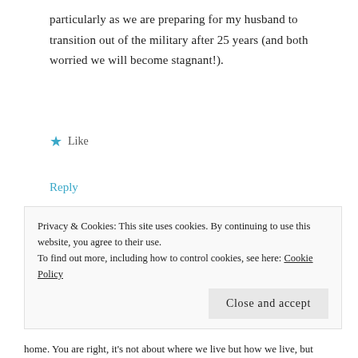particularly as we are preparing for my husband to transition out of the military after 25 years (and both worried we will become stagnant!).
★ Like
Reply
Katia V.
MARCH 17, 2015 AT 4:50 AM
Privacy & Cookies: This site uses cookies. By continuing to use this website, you agree to their use.
To find out more, including how to control cookies, see here: Cookie Policy
Close and accept
home. You are right, it's not about where we live but how we live, but